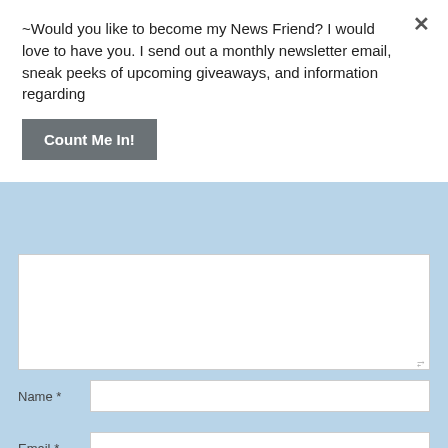~Would you like to become my News Friend? I would love to have you. I send out a monthly newsletter email, sneak peeks of upcoming giveaways, and information regarding
Count Me In!
[Figure (screenshot): A comment form section with a large text area for comments, a Name field with asterisk, and an Email field with asterisk, on a light blue background.]
Name *
Email *